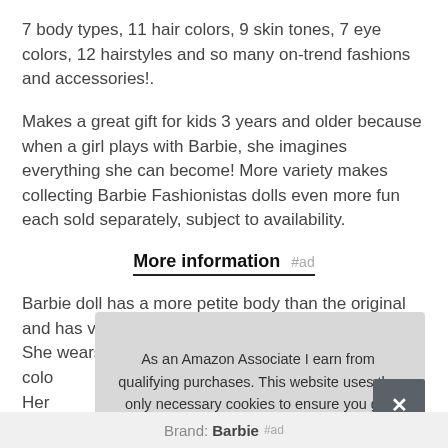7 body types, 11 hair colors, 9 skin tones, 7 eye colors, 12 hairstyles and so many on-trend fashions and accessories!.
Makes a great gift for kids 3 years and older because when a girl plays with Barbie, she imagines everything she can become! More variety makes collecting Barbie Fashionistas dolls even more fun each sold separately, subject to availability.
More information #ad
Barbie doll has a more petite body than the original and has vitiligo areas on her face, neck and hands. She wears a colo Her that
As an Amazon Associate I earn from qualifying purchases. This website uses the only necessary cookies to ensure you get the best experience on our website. More information
Brand: Barbie #ad